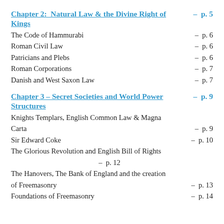Chapter 2:  Natural Law & the Divine Right of Kings – p. 5
The Code of Hammurabi – p. 6
Roman Civil Law – p. 6
Patricians and Plebs – p. 6
Roman Corporations – p. 7
Danish and West Saxon Law – p. 7
Chapter 3 – Secret Societies and World Power Structures – p. 9
Knights Templars, English Common Law & Magna Carta – p. 9
Sir Edward Coke – p. 10
The Glorious Revolution and English Bill of Rights – p. 12
The Hanovers, The Bank of England and the creation of Freemasonry – p. 13
Foundations of Freemasonry – p. 14